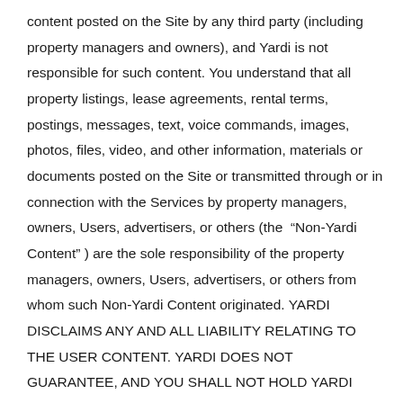content posted on the Site by any third party (including property managers and owners), and Yardi is not responsible for such content. You understand that all property listings, lease agreements, rental terms, postings, messages, text, voice commands, images, photos, files, video, and other information, materials or documents posted on the Site or transmitted through or in connection with the Services by property managers, owners, Users, advertisers, or others (the “Non-Yardi Content”) are the sole responsibility of the property managers, owners, Users, advertisers, or others from whom such Non-Yardi Content originated. YARDI DISCLAIMS ANY AND ALL LIABILITY RELATING TO THE USER CONTENT. YARDI DOES NOT GUARANTEE, AND YOU SHALL NOT HOLD YARDI RESPONSIBLE FOR, THE NON-YARDI CONTENT (INCLUDING THE ACCURACY OR TRUTH OF SUCH NON-YARDI CONTENT), OR THE NATURE, SAFETY, QUALITY, CONDITION, MANAGEMENT OF ANY RENTAL